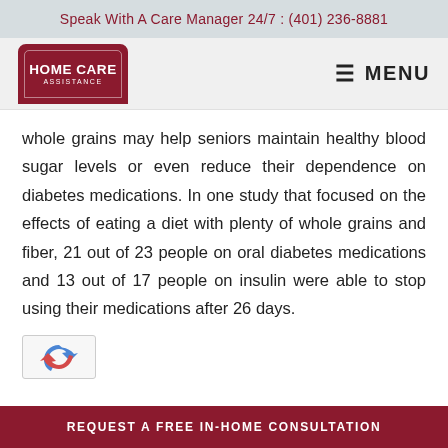Speak With A Care Manager 24/7 : (401) 236-8881
[Figure (logo): Home Care Assistance logo — dark red badge shape with white text reading HOME CARE ASSISTANCE]
whole grains may help seniors maintain healthy blood sugar levels or even reduce their dependence on diabetes medications. In one study that focused on the effects of eating a diet with plenty of whole grains and fiber, 21 out of 23 people on oral diabetes medications and 13 out of 17 people on insulin were able to stop using their medications after 26 days.
[Figure (other): reCAPTCHA widget partial view]
REQUEST A FREE IN-HOME CONSULTATION